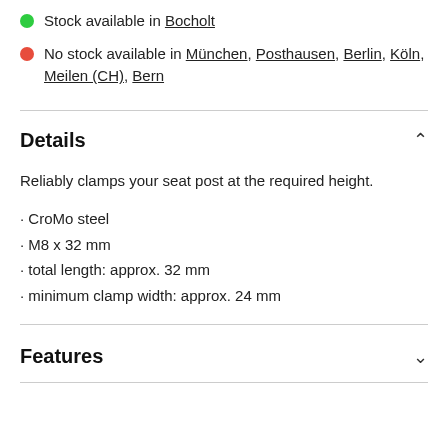Stock available in Bocholt
No stock available in München, Posthausen, Berlin, Köln, Meilen (CH), Bern
Details
Reliably clamps your seat post at the required height.
· CroMo steel
· M8 x 32 mm
· total length: approx. 32 mm
· minimum clamp width: approx. 24 mm
Features